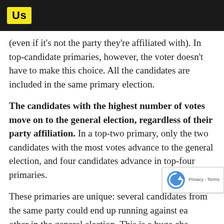Us
(even if it's not the party they're affiliated with). In top-candidate primaries, however, the voter doesn't have to make this choice. All the candidates are included in the same primary election.
The candidates with the highest number of votes move on to the general election, regardless of their party affiliation. In a top-two primary, only the two candidates with the most votes advance to the general election, and four candidates advance in top-four primaries.
These primaries are unique: several candidates from the same party could end up running against each other in the general election. This is a huge change from the standard election system. Since there is typically